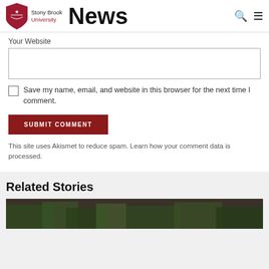Stony Brook University News
Your Website
Save my name, email, and website in this browser for the next time I comment.
SUBMIT COMMENT
This site uses Akismet to reduce spam. Learn how your comment data is processed.
Related Stories
[Figure (photo): Outdoor photo strip, partial view of trees or landscape]